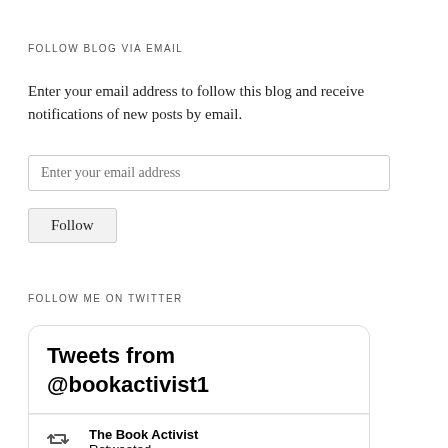FOLLOW BLOG VIA EMAIL
Enter your email address to follow this blog and receive notifications of new posts by email.
[Figure (screenshot): Email input field with placeholder text 'Enter your email address']
[Figure (screenshot): Follow button]
FOLLOW ME ON TWITTER
[Figure (screenshot): Twitter widget showing 'Tweets from @bookactivist1' with a retweet row showing 'The Book Activist Retweeted' and an avatar partially visible]